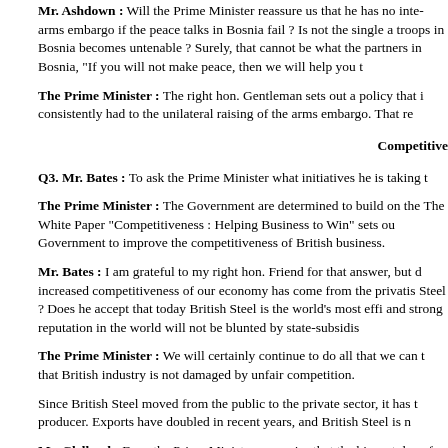Mr. Ashdown : Will the Prime Minister reassure us that he has no intention of lifting the arms embargo if the peace talks in Bosnia fail ? Is not the single argument for keeping our troops in Bosnia becomes untenable ? Surely, that cannot be what the government is saying to partners in Bosnia, "If you will not make peace, then we will help you to"
The Prime Minister : The right hon. Gentleman sets out a policy that is not the one we had consistently had to the unilateral raising of the arms embargo. That re
Competitive
Q3. Mr. Bates : To ask the Prime Minister what initiatives he is taking t
The Prime Minister : The Government are determined to build on the The White Paper "Competitiveness : Helping Business to Win" sets ou Government to improve the competitiveness of British business.
Mr. Bates : I am grateful to my right hon. Friend for that answer, but d increased competitiveness of our economy has come from the privatis Steel ? Does he accept that today British Steel is the world's most effi and strong reputation in the world will not be blunted by state-subsidis
The Prime Minister : We will certainly continue to do all that we can t that British industry is not damaged by unfair competition.
Since British Steel moved from the public to the private sector, it has t producer. Exports have doubled in recent years, and British Steel is n
Mr. Clelland : Does the Prime Minister recognise that the biggest dan of previously privatised industries such as Swan Hunter ? What will he
The Prime Minister : As the hon. Gentleman would have noted from t